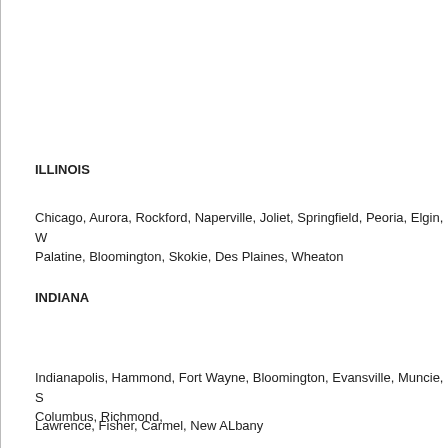ILLINOIS
Chicago, Aurora, Rockford, Naperville, Joliet, Springfield, Peoria, Elgin, W Palatine, Bloomington, Skokie, Des Plaines, Wheaton
INDIANA
Indianapolis, Hammond, Fort Wayne, Bloomington, Evansville, Muncie, S Columbus, Richmond,
Lawrence, Fisher, Carmel, New ALbany